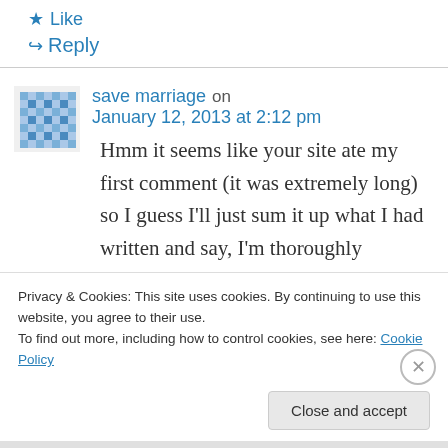★ Like
↪ Reply
save marriage on January 12, 2013 at 2:12 pm
Hmm it seems like your site ate my first comment (it was extremely long) so I guess I'll just sum it up what I had written and say, I'm thoroughly enjoying your blog. I as well am an aspiring blog blogger but I'm still new to the whole thing. Do you have any tips for novice
Privacy & Cookies: This site uses cookies. By continuing to use this website, you agree to their use.
To find out more, including how to control cookies, see here: Cookie Policy
Close and accept